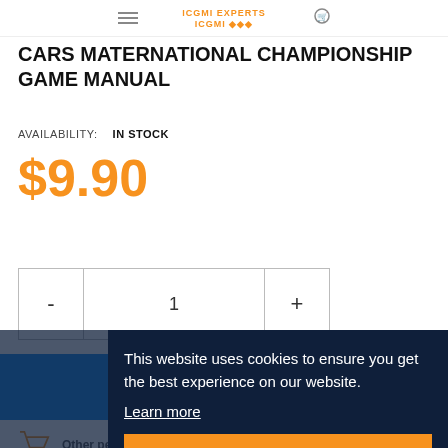ICGMI EXPERTS
CARS MATERNATIONAL CHAMPIONSHIP GAME MANUAL
AVAILABILITY: IN STOCK
$9.90
This website uses cookies to ensure you get the best experience on our website.
Learn more
Other people want this. 9 people have this in their carts right now.
ASK ABOUT THIS PRODUCT
Got it!
SHIPPING & RETURN